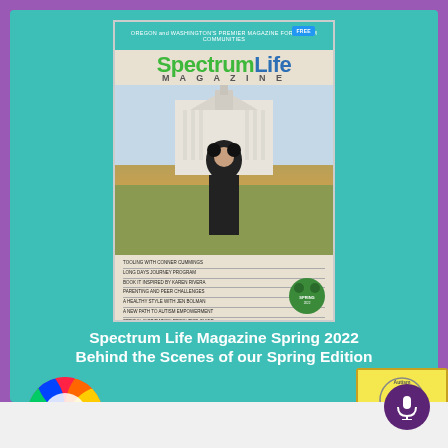[Figure (screenshot): Cover of Spectrum Life Magazine Spring 2022 issue showing a young man standing in front of the US Capitol building wearing a black outfit and Mickey Mouse ears on his head, holding a camera]
Spectrum Life Magazine Spring 2022 Behind the Scenes of our Spring Edition
Episode 024
[Figure (logo): SpectrumLife magazine rainbow flower logo]
[Figure (logo): Autism Empowerment podcast badge - An Autistic Life Podcast with Karen Rivera]
April 24, 2022